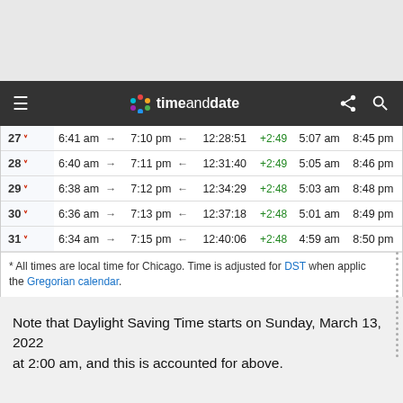timeanddate
| Day | Sunrise |  | Sunset |  | Day length | Diff. | Nautical dawn | Nautical dusk |
| --- | --- | --- | --- | --- | --- | --- | --- | --- |
| 27 | 6:41 am | → | 7:10 pm | ← | 12:28:51 | +2:49 | 5:07 am | 8:45 pm |
| 28 | 6:40 am | → | 7:11 pm | ← | 12:31:40 | +2:49 | 5:05 am | 8:46 pm |
| 29 | 6:38 am | → | 7:12 pm | ← | 12:34:29 | +2:48 | 5:03 am | 8:48 pm |
| 30 | 6:36 am | → | 7:13 pm | ← | 12:37:18 | +2:48 | 5:01 am | 8:49 pm |
| 31 | 6:34 am | → | 7:15 pm | ← | 12:40:06 | +2:48 | 4:59 am | 8:50 pm |
* All times are local time for Chicago. Time is adjusted for DST when applic the Gregorian calendar.
Note that Daylight Saving Time starts on Sunday, March 13, 2022 at 2:00 am, and this is accounted for above.